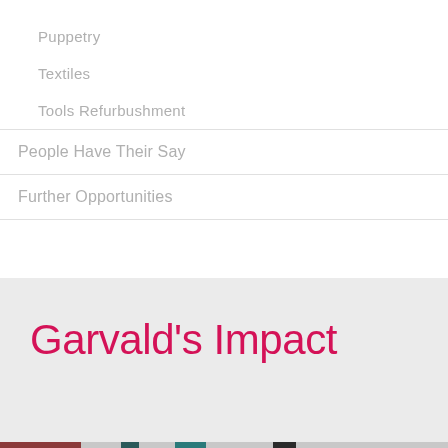Puppetry
Textiles
Tools Refurbushment
People Have Their Say
Further Opportunities
Garvald's Impact